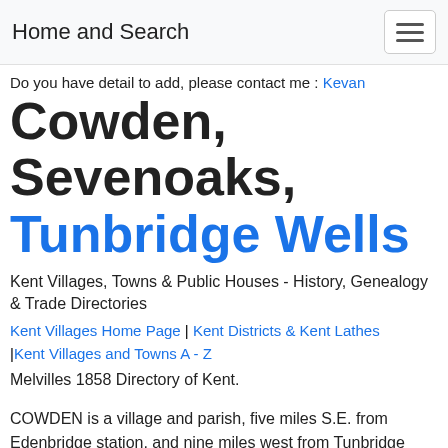Home and Search
Do you have detail to add, please contact me : Kevan
Cowden, Sevenoaks, Tunbridge Wells
Kent Villages, Towns & Public Houses - History, Genealogy & Trade Directories
Kent Villages Home Page | Kent Districts & Kent Lathes |Kent Villages and Towns A - Z
Melvilles 1858 Directory of Kent.
COWDEN is a village and parish, five miles S.E. from Edenbridge station, and nine miles west from Tunbridge Wells. The population in 1851 was 712. The church,